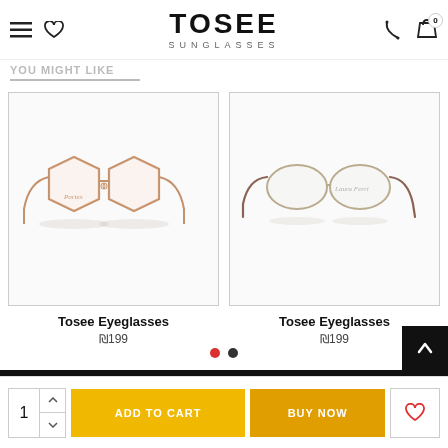TOSEE SUNGLASSES
YOU MIGHT LIKE
[Figure (photo): Hexagonal metal frame eyeglasses (rose gold) displayed on white background]
Tosee Eyeglasses
₪199
[Figure (photo): Oval metal frame eyeglasses (silver/gold) displayed on white background]
Tosee Eyeglasses
₪199